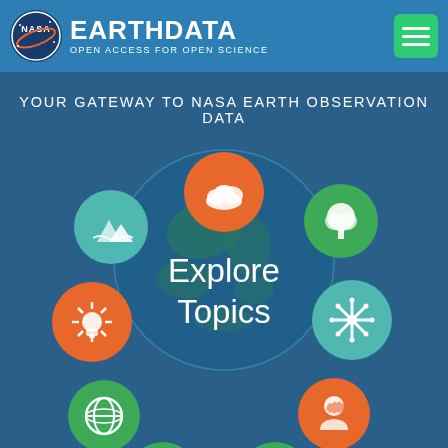[Figure (logo): NASA EarthData logo with NASA circular emblem and text EARTHDATA OPEN ACCESS FOR OPEN SCIENCE]
[Figure (infographic): NASA EarthData Explore Topics infographic showing circular icons around an Earth globe: clouds (orange), water/landscape (teal), vegetation/tree (green), sun/energy (orange), snow/cryosphere (teal), globe/atmosphere (green), human/society (orange), mountain (green, partial), ocean (green, partial). Center text reads Explore Topics. Background text: YOUR GATEWAY TO NASA EARTH OBSERVATION DATA.]